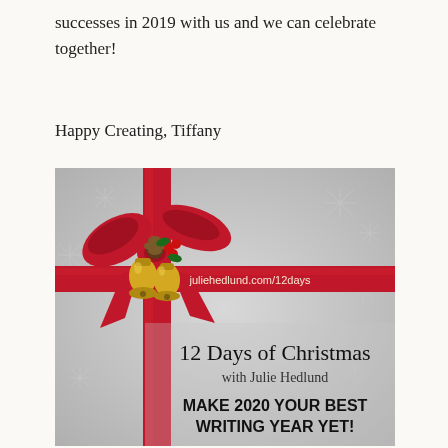successes in 2019 with us and we can celebrate together!
Happy Creating, Tiffany
[Figure (illustration): Promotional image for '12 Days of Christmas with Julie Hedlund'. Silver/grey background with white snowflake pattern. A red ribbon crosses vertically and horizontally with a large red bow at upper left featuring gold bells and holly. Text reads: juliehedlund.com/12days, 12 Days of Christmas with Julie Hedlund, MAKE 2020 YOUR BEST WRITING YEAR YET!]